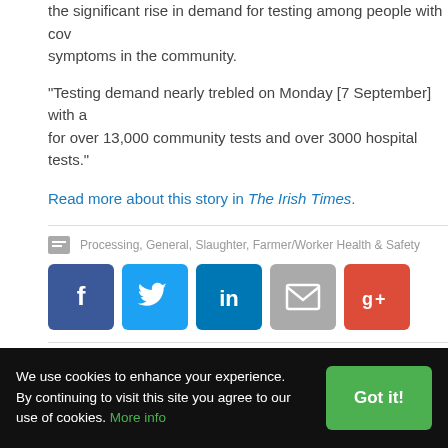the significant rise in demand for testing among people with covid symptoms in the community.
“Testing demand nearly trebled on Monday [7 September] with a for over 13,000 community tests and over 3000 hospital tests.”
Read more about this story in The Irish Times.
Processing, General, Slaughter, Farmer/Worker Health & Safety
[Figure (other): Social share buttons: Facebook, Twitter, LinkedIn, Email, Google+]
We use cookies to enhance your experience. By continuing to visit this site you agree to our use of cookies. More info